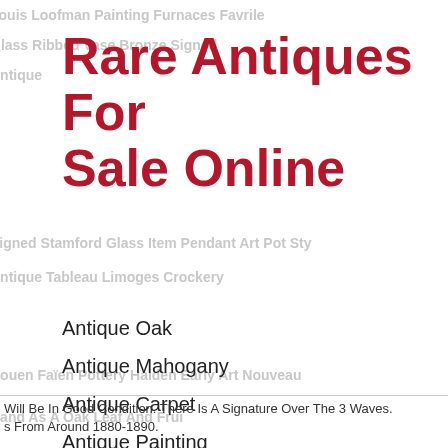Rare Antiques For Sale Online
Antique Oak
Antique Mahogany
Antique Carpet
Antique Painting
Antique Glass
Antique Plate
Will Be In Good Condition. There Is A Signature Over The 3 Waves. s From Around 1880-1890.